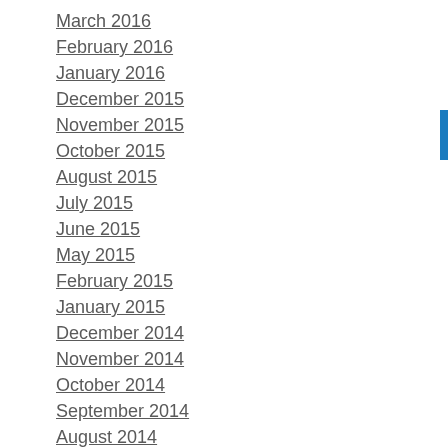March 2016
February 2016
January 2016
December 2015
November 2015
October 2015
August 2015
July 2015
June 2015
May 2015
February 2015
January 2015
December 2014
November 2014
October 2014
September 2014
August 2014
March 2014
February 2014